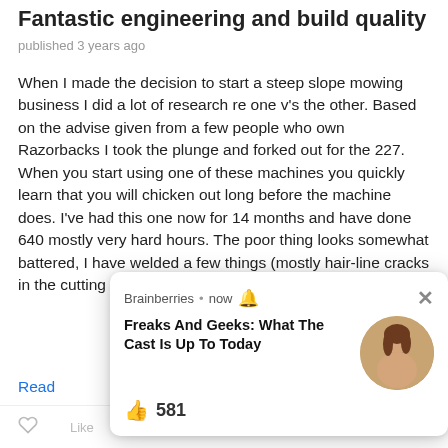Fantastic engineering and build quality
published 3 years ago
When I made the decision to start a steep slope mowing business I did a lot of research re one v's the other. Based on the advise given from a few people who own Razorbacks I took the plunge and forked out for the 227. When you start using one of these machines you quickly learn that you will chicken out long before the machine does. I've had this one now for 14 months and have done 640 mostly very hard hours. The poor thing looks somewhat battered, I have welded a few things (mostly hair-line cracks in the cutting deck to stop them from growi...
Read more
Date: Nov 2
[Figure (screenshot): Push notification popup from Brainberries with bell icon, headline 'Freaks And Geeks: What The Cast Is Up To Today', a circular photo of a woman, thumbs up icon with count 581, and a close X button.]